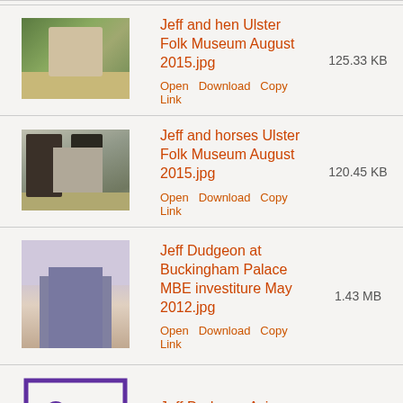| Thumbnail | Filename / Actions | Size |
| --- | --- | --- |
| [photo: man with hen] | Jeff and hen Ulster Folk Museum August 2015.jpg
Open Download Copy Link | 125.33 KB |
| [photo: man with horses] | Jeff and horses Ulster Folk Museum August 2015.jpg
Open Download Copy Link | 120.45 KB |
| [photo: man at palace] | Jeff Dudgeon at Buckingham Palace MBE investiture May 2012.jpg
Open Download Copy Link | 1.43 MB |
| [image icon] | Jeff Dudgeon Avignon sur le pont 2006.tif
Download Copy Link | 2.21 MB |
| [image icon] | Jeff Dudgeon Carry le... |  |